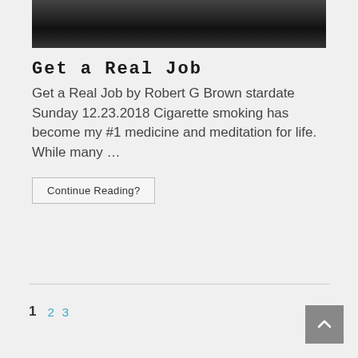[Figure (photo): Black and white photo strip at the top showing an interior scene]
Get a Real Job
Get a Real Job by Robert G Brown stardate Sunday 12.23.2018 Cigarette smoking has become my #1 medicine and meditation for life. While many …
Continue Reading?
1  2  3